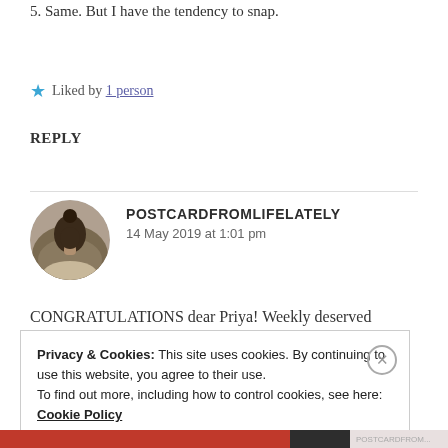5. Same. But I have the tendency to snap.
Liked by 1 person
REPLY
[Figure (photo): Circular avatar photo of a person with dark hair, seen from behind, with a dark/nature background.]
POSTCARDFROMLIFELATELY
14 May 2019 at 1:01 pm
CONGRATULATIONS dear Priya! Weekly deserved
Privacy & Cookies: This site uses cookies. By continuing to use this website, you agree to their use.
To find out more, including how to control cookies, see here: Cookie Policy
Close and accept